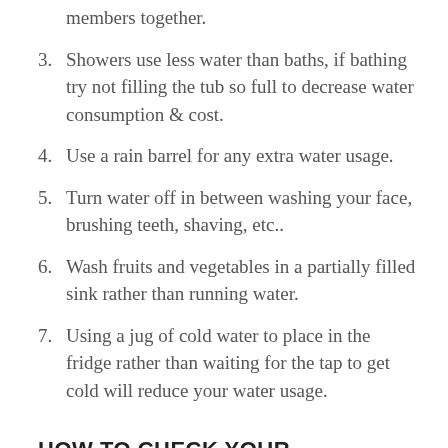members together.
3. Showers use less water than baths, if bathing try not filling the tub so full to decrease water consumption & cost.
4. Use a rain barrel for any extra water usage.
5. Turn water off in between washing your face, brushing teeth, shaving, etc..
6. Wash fruits and vegetables in a partially filled sink rather than running water.
7. Using a jug of cold water to place in the fridge rather than waiting for the tap to get cold will reduce your water usage.
HOW TO CHECK YOUR